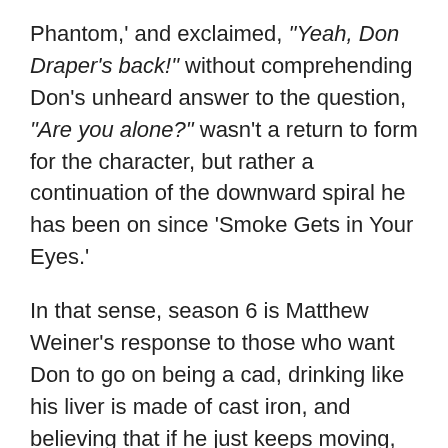Phantom,' and exclaimed, "Yeah, Don Draper's back!" without comprehending Don's unheard answer to the question, "Are you alone?" wasn't a return to form for the character, but rather a continuation of the downward spiral he has been on since 'Smoke Gets in Your Eyes.'
In that sense, season 6 is Matthew Weiner's response to those who want Don to go on being a cad, drinking like his liver is made of cast iron, and believing that if he just keeps moving, he can continue to evade his past. As entertaining as those aspects of Don's character have been, 'Mad Men' isn't about sending its characters into a frustrating Mobiüs strip of a narrative. Perhaps, then, that is why the season takes Don to his lowest point ever, and